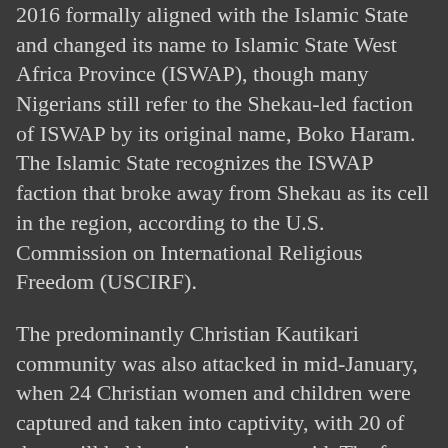2016 formally aligned with the Islamic State and changed its name to Islamic State West Africa Province (ISWAP), though many Nigerians still refer to the Shekau-led faction of ISWAP by its original name, Boko Haram. The Islamic State recognizes the ISWAP faction that broke away from Shekau as its cell in the region, according to the U.S. Commission on International Religious Freedom (USCIRF).
The predominantly Christian Kautikari community was also attacked in mid-January, when 24 Christian women and children were captured and taken into captivity, with 20 of them still held captive, sources said. The four others managed to escape in late January.
A worship auditorium of the local EYN congregation was also damaged in the January attack, residents said. The community lies on the fringes of Sambisa forest, a base of ISWAP terrorists.